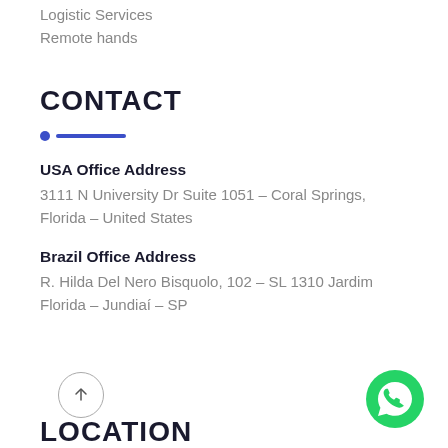Logistic Services
Remote hands
CONTACT
USA Office Address
3111 N University Dr Suite 1051 – Coral Springs, Florida – United States
Brazil Office Address
R. Hilda Del Nero Bisquolo, 102 – SL 1310 Jardim Florida – Jundiaí – SP
[Figure (illustration): Up arrow button (circle with upward arrow) and WhatsApp icon on bottom row]
LOCATION